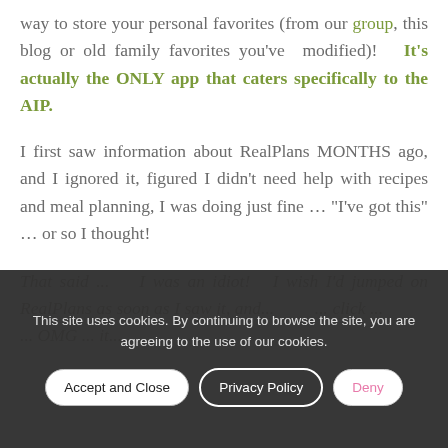way to store your personal favorites (from our group, this blog or old family favorites you've modified)!  It's actually the ONLY app that caters specifically to the AIP.
I first saw information about RealPlans MONTHS ago, and I ignored it, figured I didn't need help with recipes and meal planning, I was doing just fine … "I've got this" … or so I thought!
That said ... I was an idiot!  I wish I'd jumped on RealPlans as soon as I saw it, and ... click ... OMG ... it...
This site uses cookies. By continuing to browse the site, you are agreeing to the use of our cookies.